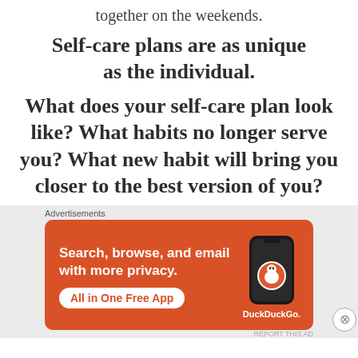together on the weekends.
Self-care plans are as unique as the individual.
What does your self-care plan look like? What habits no longer serve you? What new habit will bring you closer to the best version of you?
[Figure (other): DuckDuckGo advertisement banner with orange background showing a smartphone, text: 'Search, browse, and email with more privacy. All in One Free App', DuckDuckGo logo and name.]